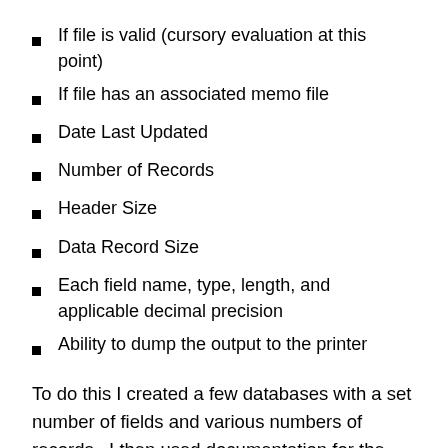If file is valid (cursory evaluation at this point)
If file has an associated memo file
Date Last Updated
Number of Records
Header Size
Data Record Size
Each field name, type, length, and applicable decimal precision
Ability to dump the output to the printer
To do this I created a few databases with a set number of fields and various numbers of records.  I then used documentation for the dBase III file format, a hex editor, and careful scrutiny of the byte streams to decipher the files.  The documented format I found may have been correct, but it didn’t completely match the test files I